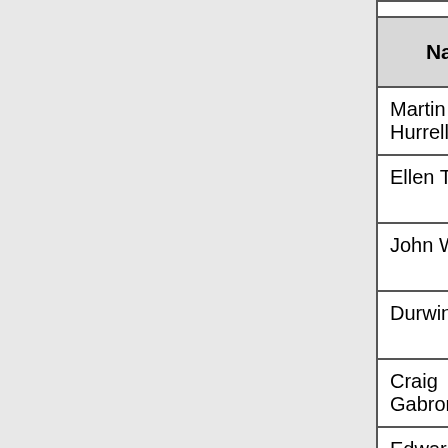| Name | Affiliation | Term Expires | Atte... |
| --- | --- | --- | --- |
| Martin Hurrell | Anesthesia | Jan 2018 |  |
| Ellen Torres | Anesthesia | May 2017 |  |
| John Walsh | Anesthesia | Sep 2017 |  |
| Durwin Day | Attachments | Jan 2018 |  |
| Craig Gabron | Attachments | Jan 2019 |  |
| Edward Helton | Biomedical Research and Regulation | May 2017 |  |
| John Kiser | Biomedical Research and Regulation | Jan 2018 |  |